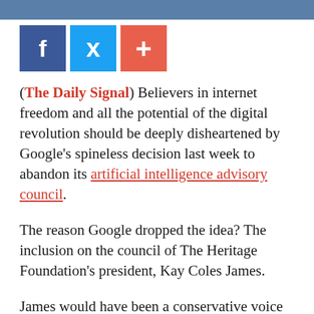[Figure (screenshot): Dark blue/grey photo strip at the top of the page]
[Figure (infographic): Three social share buttons: Facebook (blue), Twitter (light blue), and a red plus/share button]
(The Daily Signal) Believers in internet freedom and all the potential of the digital revolution should be deeply disheartened by Google's spineless decision last week to abandon its artificial intelligence advisory council.
The reason Google dropped the idea? The inclusion on the council of The Heritage Foundation's president, Kay Coles James.
James would have been a conservative voice on the council to offer balance and a different perspective than is usually heard in the left-leaning world of digital enterprises.